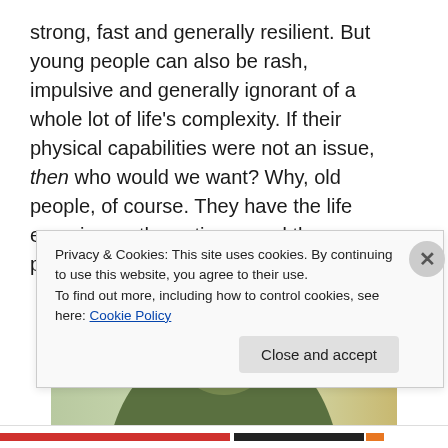strong, fast and generally resilient. But young people can also be rash, impulsive and generally ignorant of a whole lot of life's complexity. If their physical capabilities were not an issue, then who would we want? Why, old people, of course. They have the life experience, the patience and the perspective to be better soldiers.
[Figure (photo): Close-up photo of a soldier statue or figure wearing a military helmet, hand raised to forehead in a saluting gesture. Green-toned image with blurred background showing trees and colorful elements.]
Privacy & Cookies: This site uses cookies. By continuing to use this website, you agree to their use.
To find out more, including how to control cookies, see here: Cookie Policy
Close and accept